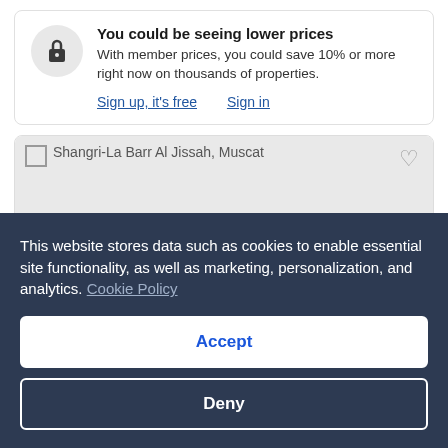You could be seeing lower prices
With member prices, you could save 10% or more right now on thousands of properties.
Sign up, it's free   Sign in
[Figure (screenshot): Hotel image placeholder for Shangri-La Barr Al Jissah, Muscat with a heart/save icon in the top right corner]
This website stores data such as cookies to enable essential site functionality, as well as marketing, personalization, and analytics. Cookie Policy
Accept
Deny